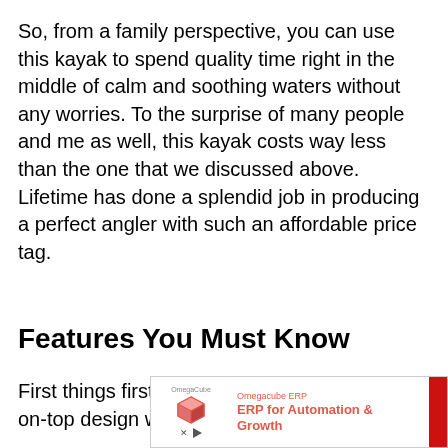So, from a family perspective, you can use this kayak to spend quality time right in the middle of calm and soothing waters without any worries. To the surprise of many people and me as well, this kayak costs way less than the one that we discussed above. Lifetime has done a splendid job in producing a perfect angler with such an affordable price tag.
Features You Must Know
First things first, the kayak comes in with a sit-on-top design which has improved
[Figure (other): Advertisement banner for Omegacube ERP: ERP for Automation & Growth. Shows a 3D cube icon, OmegaCube logo text, and a red bar on the right edge.]